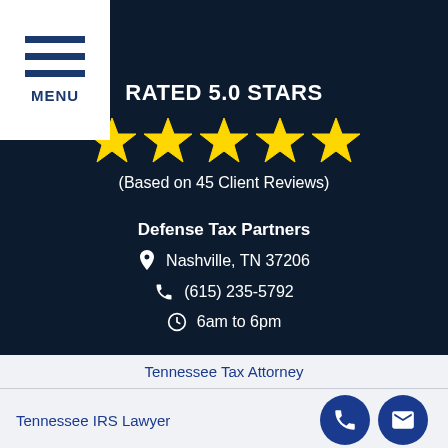[Figure (logo): Hamburger menu icon with three horizontal blue lines and MENU text below, on white background in top-left corner]
RATED 5.0 STARS
[Figure (infographic): Five gold star rating icons displayed in a row]
(Based on 45 Client Reviews)
Defense Tax Partners
Nashville, TN 37206
(615) 235-5792
6am to 6pm
Tennessee Tax Attorney
Tennessee IRS Lawyer
[Figure (infographic): Two circular dark blue buttons: phone icon and envelope/email icon]